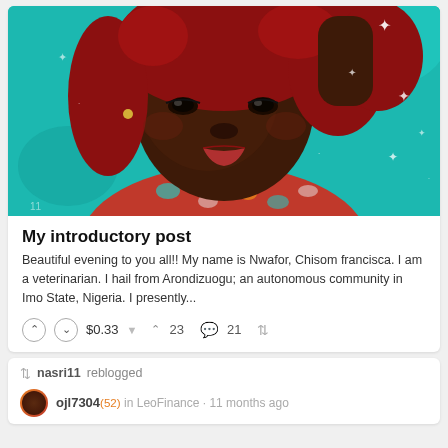[Figure (photo): Photo of a young woman with red curly hair, wearing a red patterned top, making a pouty expression against a teal background with sparkle effects]
My introductory post
Beautiful evening to you all!! My name is Nwafor, Chisom francisca. I am a veterinarian. I hail from Arondizuogu; an autonomous community in Imo State, Nigeria. I presently...
nasri11 reblogged
ojl7304 (52) in LeoFinance · 11 months ago